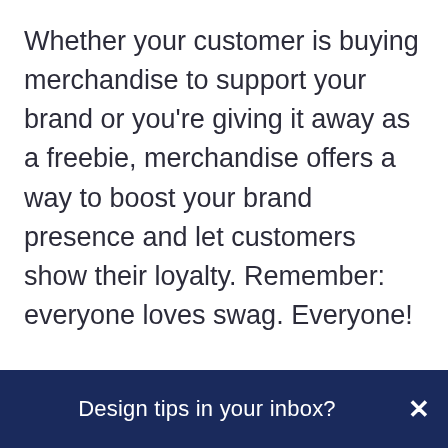Whether your customer is buying merchandise to support your brand or you're giving it away as a freebie, merchandise offers a way to boost your brand presence and let customers show their loyalty. Remember: everyone loves swag. Everyone!
With low production costs and appealing longevity, T-shirts allow your consumer to do the advertising for you wherever they go. With bold color and an eye-catching, pizza-shaped graphic, the Levantes Pizza T-shirt supports
Design tips in your inbox?